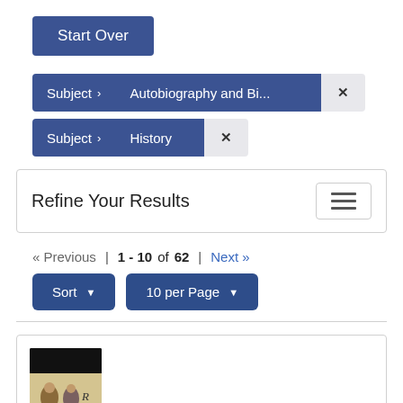Start Over
Subject › Autobiography and Bi...  ×
Subject › History  ×
Refine Your Results
« Previous | 1 - 10 of 62 | Next »
Sort ▾   10 per Page ▾
[Figure (screenshot): Book thumbnail showing historical figures on cover with black header bar]